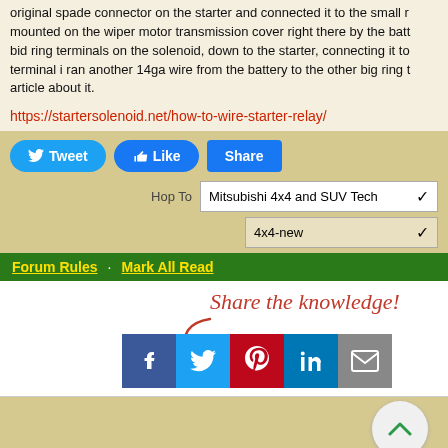original spade connector on the starter and connected it to the small relay mounted on the wiper motor transmission cover right there by the battery. bid ring terminals on the solenoid, down to the starter, connecting it to terminal i ran another 14ga wire from the battery to the other big ring t article about it.
https://startersolenoid.net/how-to-wire-starter-relay/
[Figure (screenshot): Social share buttons: Tweet, Like, Share]
[Figure (screenshot): Hop To dropdown: Mitsubishi 4x4 and SUV Tech]
[Figure (screenshot): Sub-forum dropdown: 4x4-new]
Forum Rules · Mark All Read
[Figure (screenshot): Share the knowledge! with social media icons: Facebook, Twitter, Pinterest, LinkedIn, Email]
[Figure (screenshot): Scroll to top button (chevron up icon)]